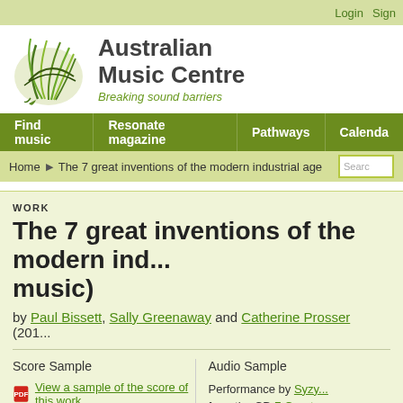Login  Sign
[Figure (logo): Australian Music Centre logo with green stylized plant/grass illustration]
Australian Music Centre
Breaking sound barriers
Find music  Resonate magazine  Pathways  Calendar
Home  The 7 great inventions of the modern industrial age  Search
WORK
The 7 great inventions of the modern ind... music)
by Paul Bissett, Sally Greenaway and Catherine Prosser (201...
Score Sample
Audio Sample
View a sample of the score of this work
Performance by Syzy... from the CD 7 Great...